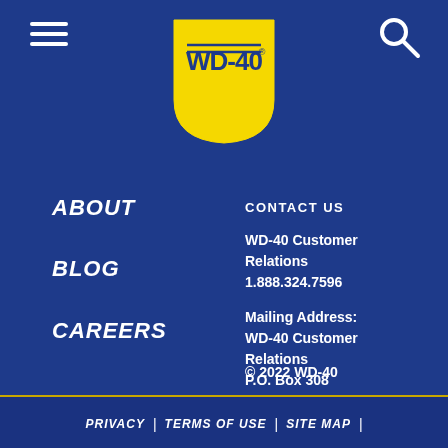[Figure (logo): WD-40 brand logo — yellow shield shape with dark blue WD-40 text and registered trademark symbol]
ABOUT
BLOG
CAREERS
CONTACT US
WD-40 Customer Relations
1.888.324.7596
Mailing Address:
WD-40 Customer Relations
P.O. Box 308
Budd Lake, NJ, 07828
© 2022 WD-40
PRIVACY | TERMS OF USE | SITE MAP |